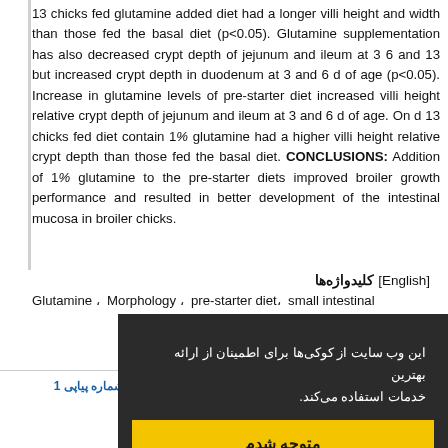13 chicks fed glutamine added diet had a longer villi height and width than those fed the basal diet (p<0.05). Glutamine supplementation has also decreased crypt depth of jejunum and ileum at 3 6 and 13 but increased crypt depth in duodenum at 3 and 6 d of age (p<0.05). Increase in glutamine levels of pre-starter diet increased villi height relative crypt depth of jejunum and ileum at 3 and 6 d of age. On d 13 chicks fed diet contain 1% glutamine had a higher villi height relative crypt depth than those fed the basal diet. CONCLUSIONS: Addition of 1% glutamine to the pre-starter diets improved broiler growth performance and resulted in better development of the intestinal mucosa in broiler chicks.
كليدواژه‌ها [English]
Glutamine، Morphology، pre-starter diet، small intestinal
این وب سایت از کوکی‌ها برای اطمینان از ارائه بهترین خدمات استفاده می‌کند.
متوجه شدم
شماره پیاپی 1